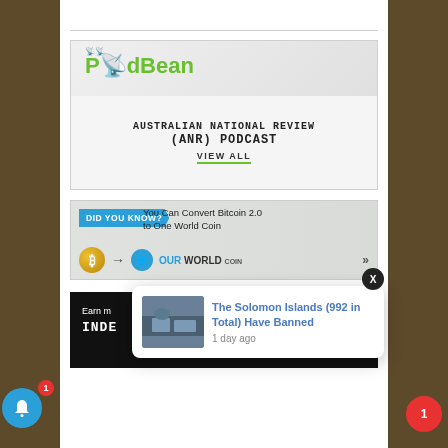[Figure (illustration): PodBean - Australian National Review (ANR) Podcast banner with green branding and VIEW ALL link]
[Figure (illustration): DID YOU KNOW? banner - You Can Convert Bitcoin 2.0 to One World Coin advertisement with OurWorldCoin logo]
[Figure (illustration): Dark banner - Earn m... INDE... partial text visible]
The Solomon Islands (992 in Total) Have Banned
1 day ago